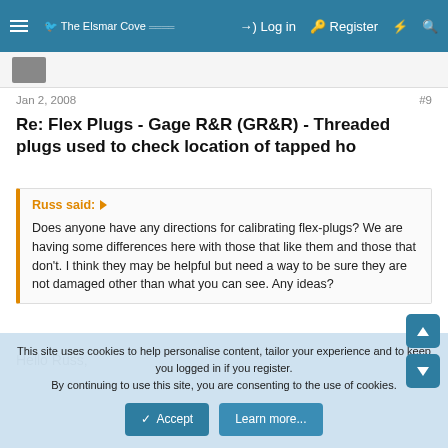The Elsmar Cove — Log in | Register
Jan 2, 2008   #9
Re: Flex Plugs - Gage R&R (GR&R) - Threaded plugs used to check location of tapped ho
Russ said: ↗
Does anyone have any directions for calibrating flex-plugs? We are having some differences here with those that like them and those that don't. I think they may be helpful but need a way to be sure they are not damaged other than what you can see. Any ideas?
Hello Russ,
This site uses cookies to help personalise content, tailor your experience and to keep you logged in if you register.
By continuing to use this site, you are consenting to the use of cookies.
Accept | Learn more...